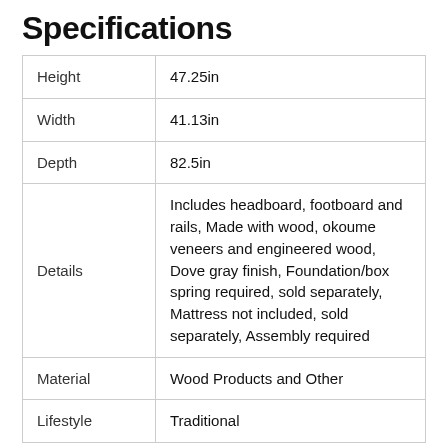Specifications
|  |  |
| --- | --- |
| Height | 47.25in |
| Width | 41.13in |
| Depth | 82.5in |
| Details | Includes headboard, footboard and rails, Made with wood, okoume veneers and engineered wood, Dove gray finish, Foundation/box spring required, sold separately, Mattress not included, sold separately, Assembly required |
| Material | Wood Products and Other |
| Lifestyle | Traditional |